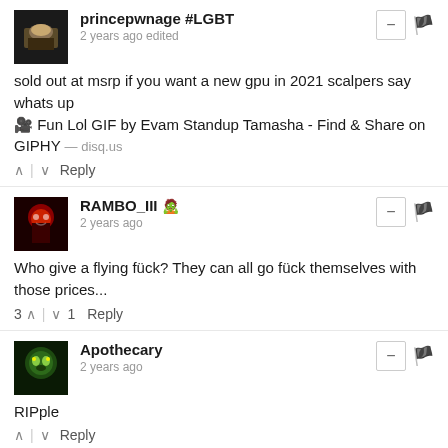princepwnage #LGBT
2 years ago edited
sold out at msrp if you want a new gpu in 2021 scalpers say whats up
🎬 Fun Lol GIF by Evam Standup Tamasha - Find & Share on GIPHY — disq.us
RAMBO_III 🧟
2 years ago
Who give a flying fück? They can all go fück themselves with those prices...
3 ^ | v 1  Reply
Apothecary
2 years ago
RIPple
Gate OV 🔲 🌐 🧟 → Apothecary